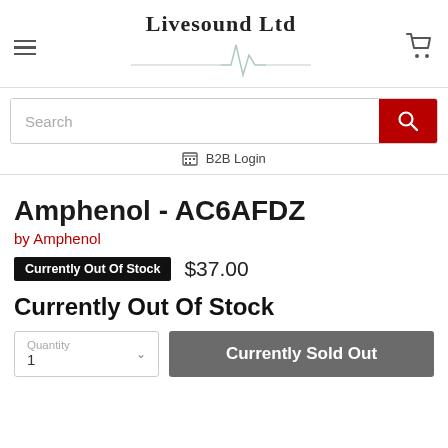Livesound Ltd
Search
B2B Login
Amphenol - AC6AFDZ
by Amphenol
Currently Out Of Stock  $37.00
Currently Out Of Stock
Quantity 1  Currently Sold Out